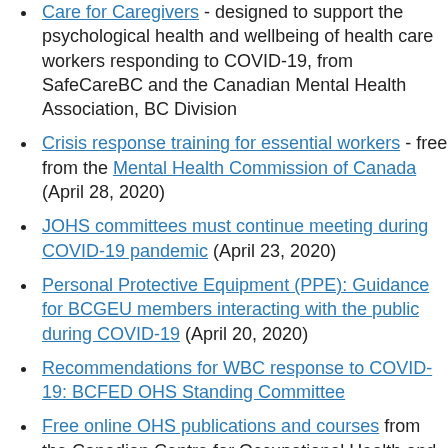Care for Caregivers - designed to support the psychological health and wellbeing of health care workers responding to COVID-19, from SafeCareBC and the Canadian Mental Health Association, BC Division
Crisis response training for essential workers - free from the Mental Health Commission of Canada (April 28, 2020)
JOHS committees must continue meeting during COVID-19 pandemic (April 23, 2020)
Personal Protective Equipment (PPE): Guidance for BCGEU members interacting with the public during COVID-19 (April 20, 2020)
Recommendations for WBC response to COVID-19: BCFED OHS Standing Committee
Free online OHS publications and courses from the Canadian Centre for Occupational Health and Safety (CCOHS)
Your right to refuse unsafe work - your basic rights and procedures to follow if they're not being met. All workers in our province are entitled to exercise their basic rights when it comes to Occupational